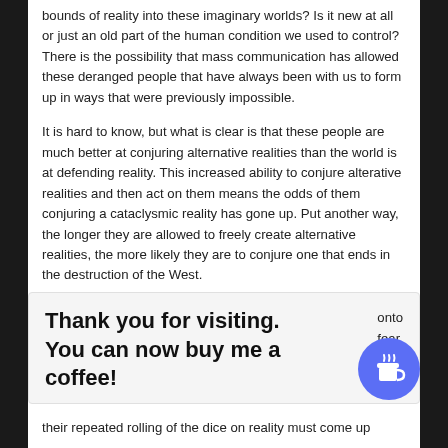bounds of reality into these imaginary worlds? Is it new at all or just an old part of the human condition we used to control? There is the possibility that mass communication has allowed these deranged people that have always been with us to form up in ways that were previously impossible.
It is hard to know, but what is clear is that these people are much better at conjuring alternative realities than the world is at defending reality. This increased ability to conjure alterative realities and then act on them means the odds of them conjuring a cataclysmic reality has gone up. Put another way, the longer they are allowed to freely create alternative realities, the more likely they are to conjure one that ends in the destruction of the West.
Thank you for visiting. You can now buy me a coffee!
their repeated rolling of the dice on reality must come up